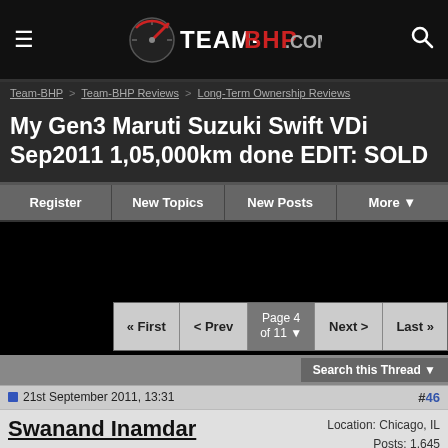Team-BHP.com
Team-BHP > Team-BHP Reviews > Long-Term Ownership Reviews
My Gen3 Maruti Suzuki Swift VDi Sep2011 1,05,000km done EDIT: SOLD
Register | New Topics | New Posts | More
« First  < Prev  Page 4 of 11  Next >  Last »
Search this Thread
21st September 2011, 13:31  #46
Swanand Inamdar
Location: Chicago, IL
Posts: 1,645
Thanked: 585 Times